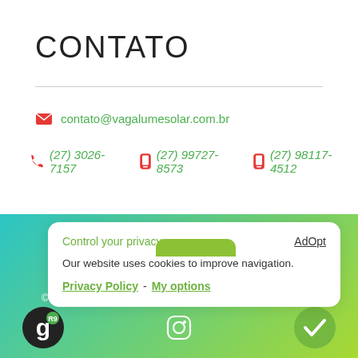CONTATO
contato@vagalumesolar.com.br
(27) 3026-7157   (27) 99727-8573   (27) 98117-4512
Control your privacy
AdOpt
Our website uses cookies to improve navigation.
Privacy Policy  -  My options
© 2020 Vagalume - Energia Solar. Todos os Direitos Reservados